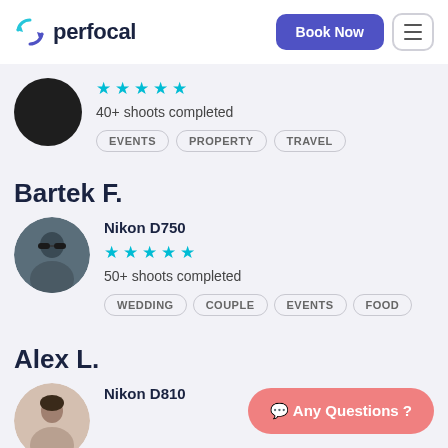[Figure (logo): Perfocal logo with teal recycling-arrow icon and dark bold text 'perfocal']
Book Now
40+ shoots completed
EVENTS   PROPERTY   TRAVEL
Bartek F.
Nikon D750
50+ shoots completed
WEDDING   COUPLE   EVENTS   FOOD
Alex L.
Nikon D810
Any Questions ?